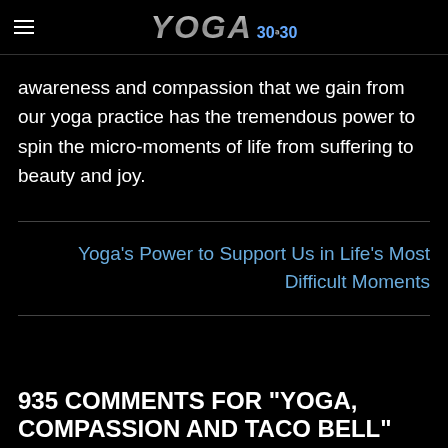YOGA 30/30
awareness and compassion that we gain from our yoga practice has the tremendous power to spin the micro-moments of life from suffering to beauty and joy.
Yoga's Power to Support Us in Life's Most Difficult Moments
935 COMMENTS FOR "YOGA, COMPASSION AND TACO BELL"